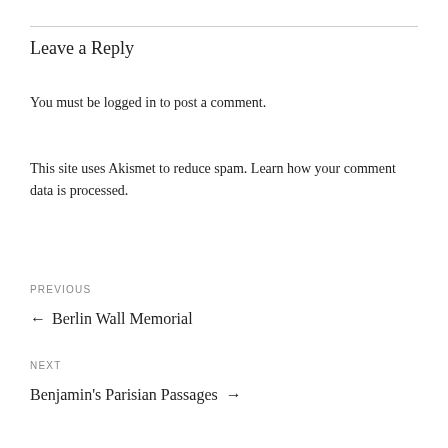Leave a Reply
You must be logged in to post a comment.
This site uses Akismet to reduce spam. Learn how your comment data is processed.
PREVIOUS
← Berlin Wall Memorial
NEXT
Benjamin's Parisian Passages →